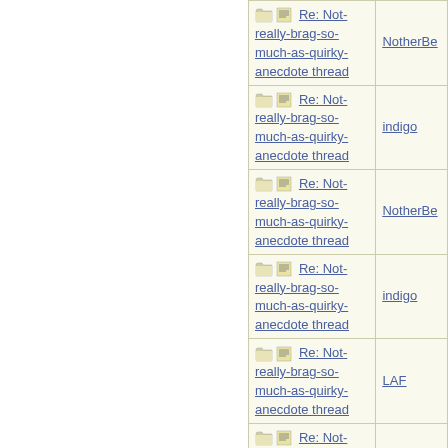| Subject | Author |
| --- | --- |
| Re: Not-really-brag-so-much-as-quirky-anecdote thread | NotherBe |
| Re: Not-really-brag-so-much-as-quirky-anecdote thread | indigo |
| Re: Not-really-brag-so-much-as-quirky-anecdote thread | NotherBe |
| Re: Not-really-brag-so-much-as-quirky-anecdote thread | indigo |
| Re: Not-really-brag-so-much-as-quirky-anecdote thread | LAF |
| Re: Not-really-brag-so-much-as-quirky-anecdote thread | Aufilia |
| Re: Not-really-brag-so-much-as-quirky-anecdote thread |  |